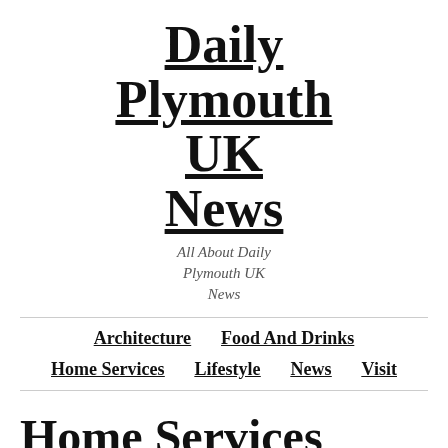Daily Plymouth UK News
All About Daily Plymouth UK News
Architecture
Food And Drinks
Home Services
Lifestyle
News
Visit
Home Services